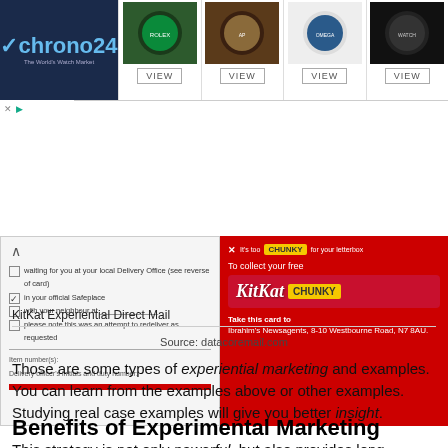[Figure (screenshot): Chrono24 watch advertisement banner showing logo on left and four watches with VIEW buttons]
[Figure (screenshot): KitKat Chunky experiential direct mail campaign showing postal card on left and KitKat Chunky promotion on red background on right]
KitKat Experiential Direct Mail
Source: datacoremail.com
Those are some types of experiential marketing and examples. You can learn from the examples above or other examples. Studying real case examples will give you better insight.
Benefits of Experimental Marketing
This strategy is not only powerful, but also provides long